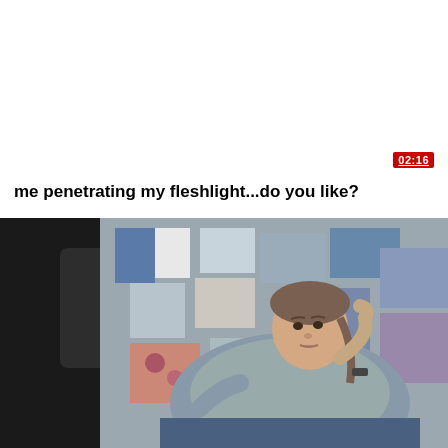[Figure (screenshot): Video thumbnail preview area - white background upper portion with red duration badge showing 02:16]
me penetrating my fleshlight...do you like?
[Figure (photo): Video thumbnail showing a young woman in a gray knit sweater with braided hair sitting on a couch with patterned quilts/blankets, looking at something off-camera. A blurred dark object is visible on the left side of the frame.]